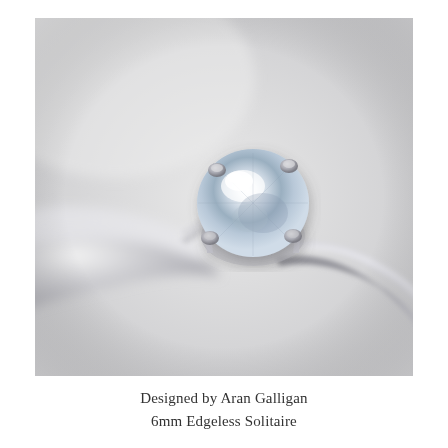[Figure (photo): Close-up photograph of a platinum diamond solitaire engagement ring. A round brilliant-cut diamond is set in a four-prong setting on a slim, polished platinum band. The background is softly blurred light grey. The ring is photographed from a slightly elevated angle showing the top and side of the stone and band.]
Designed by Aran Galligan
6mm Edgeless Solitaire